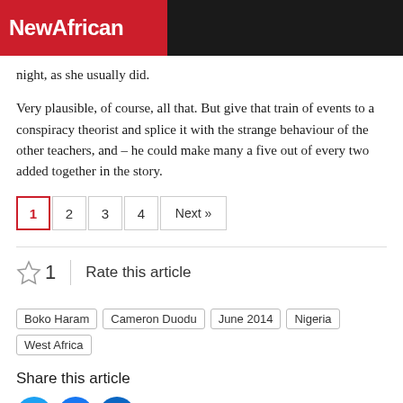NewAfrican
night, as she usually did.
Very plausible, of course, all that. But give that train of events to a conspiracy theorist and splice it with the strange behaviour of the other teachers, and – he could make many a five out of every two added together in the story.
1  2  3  4  Next »
☆ 1  Rate this article
Boko Haram  Cameron Duodu  June 2014  Nigeria  West Africa
Share this article
[Figure (infographic): Social share icons: Twitter (blue bird), Facebook (blue f), LinkedIn (blue in)]